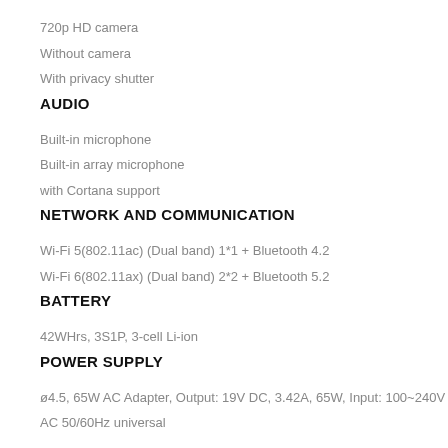720p HD camera
Without camera
With privacy shutter
AUDIO
Built-in microphone
Built-in array microphone
with Cortana support
NETWORK AND COMMUNICATION
Wi-Fi 5(802.11ac) (Dual band) 1*1 + Bluetooth 4.2
Wi-Fi 6(802.11ax) (Dual band) 2*2 + Bluetooth 5.2
BATTERY
42WHrs, 3S1P, 3-cell Li-ion
POWER SUPPLY
ø4.5, 65W AC Adapter, Output: 19V DC, 3.42A, 65W, Input: 100~240V
AC 50/60Hz universal